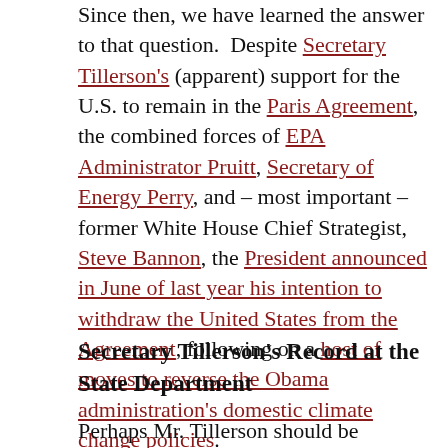Since then, we have learned the answer to that question. Despite Secretary Tillerson's (apparent) support for the U.S. to remain in the Paris Agreement, the combined forces of EPA Administrator Pruitt, Secretary of Energy Perry, and – most important – former White House Chief Strategist, Steve Bannon, the President announced in June of last year his intention to withdraw the United States from the Agreement, following on a host of moves to reverse the Obama administration's domestic climate change policies.
Secretary Tillerson's Record at the State Department
Perhaps Mr. Tillerson should be credited for the